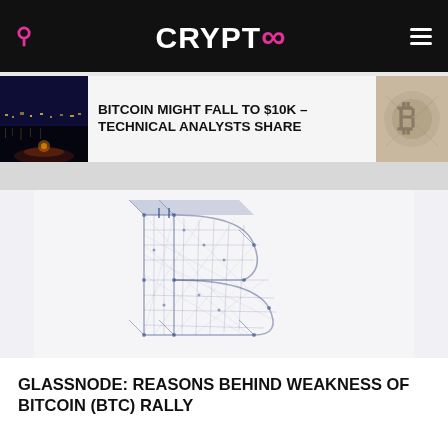CRYPTO∞
BITCOIN MIGHT FALL TO $10K – TECHNICAL ANALYSTS SHARE
[Figure (photo): Wireframe 3D Bitcoin symbol logo made of connected lines and nodes, in dark blue/navy color on white background]
GLASSNODE: REASONS BEHIND WEAKNESS OF BITCOIN (BTC) RALLY